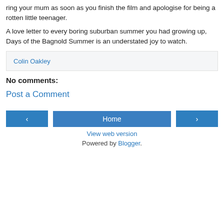ring your mum as soon as you finish the film and apologise for being a rotten little teenager.
A love letter to every boring suburban summer you had growing up, Days of the Bagnold Summer is an understated joy to watch.
Colin Oakley
No comments:
Post a Comment
‹
Home
›
View web version
Powered by Blogger.